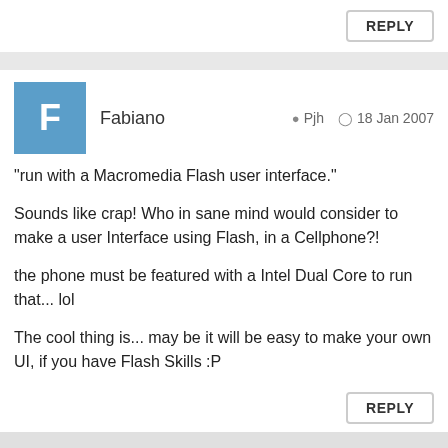REPLY
Fabiano   Pjh   18 Jan 2007
"run with a Macromedia Flash user interface."

Sounds like crap! Who in sane mind would consider to make a user Interface using Flash, in a Cellphone?!

the phone must be featured with a Intel Dual Core to run that... lol

The cool thing is... may be it will be easy to make your own UI, if you have Flash Skills :P
REPLY
Andre   mxp   18 Jan 2007